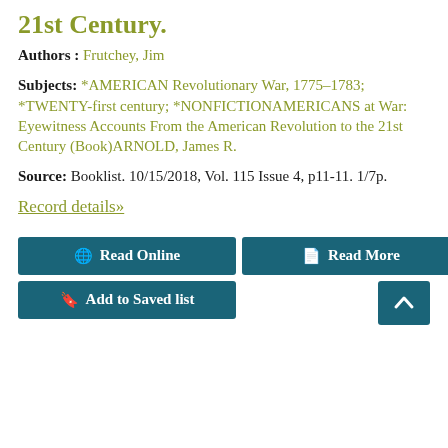21st Century.
Authors : Frutchey, Jim
Subjects: *AMERICAN Revolutionary War, 1775-1783; *TWENTY-first century; *NONFICTIONAMERICANS at War: Eyewitness Accounts From the American Revolution to the 21st Century (Book)ARNOLD, James R.
Source: Booklist. 10/15/2018, Vol. 115 Issue 4, p11-11. 1/7p.
Record details»